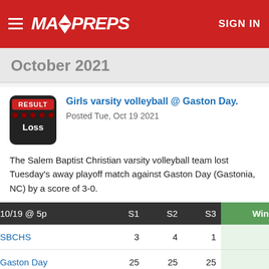MAXPREPS | SIGN IN
October 2021
Girls varsity volleyball @ Gaston Day.
Posted Tue, Oct 19 2021
The Salem Baptist Christian varsity volleyball team lost Tuesday's away playoff match against Gaston Day (Gastonia, NC) by a score of 3-0.
| 10/19 @ 5p | S1 | S2 | S3 | Wins |
| --- | --- | --- | --- | --- |
| SBCHS | 3 | 4 | 1 | 0 |
| Gaston Day | 25 | 25 | 25 | 3 |
Box score